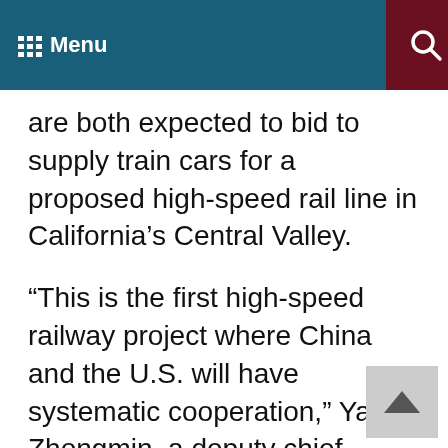Menu
are both expected to bid to supply train cars for a proposed high-speed rail line in California’s Central Valley.
“This is the first high-speed railway project where China and the U.S. will have systematic cooperation,” Yang Zhongmin, a deputy chief engineer with China Railway Group, said after a news